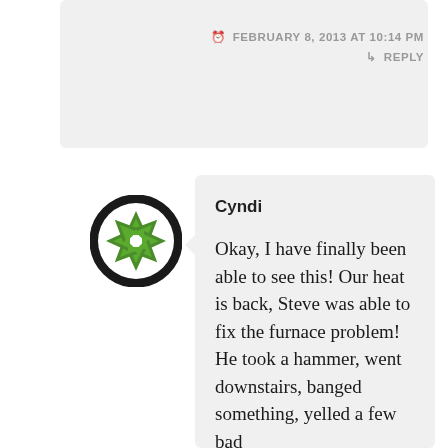FEBRUARY 8, 2013 AT 10:14 PM
↳ REPLY
[Figure (logo): Circular green and white logo with a star/aperture-like pattern made of green triangles on white background, thick black border circle]
Cyndi
Okay, I have finally been able to see this! Our heat is back, Steve was able to fix the furnace problem! He took a hammer, went downstairs, banged something, yelled a few bad